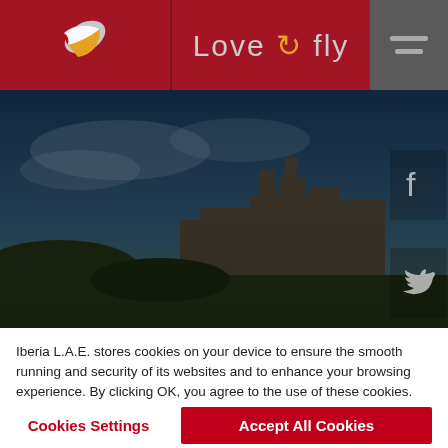[Figure (logo): Iberia airline logo – stylized red and yellow bird/wing shape on dark red background]
Love to fly
[Figure (photo): Edinburgh Castle viewed from below against a partly cloudy blue sky, with dark overlay tinting]
[Figure (other): Facebook and Twitter social media icons overlaid on right side of hero image]
Iberia L.A.E. stores cookies on your device to ensure the smooth running and security of its websites and to enhance your browsing experience. By clicking OK, you agree to the use of these cookies. You can change your settings whenever you want in Cookies Settings. For more information, please see our Cookies Policy.
Cookies Settings
Accept All Cookies